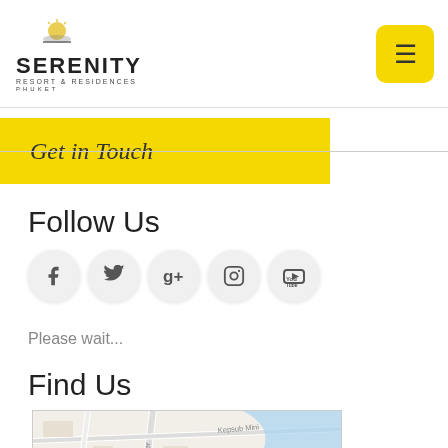[Figure (logo): Serenity Resort & Residences Phuket logo with sun/horizon icon]
[Figure (other): Yellow hamburger menu button]
Get in Touch
Follow Us
[Figure (other): Social media icons: Facebook, Twitter, Google+, Instagram, YouTube]
Please wait...
Find Us
[Figure (map): Google Maps snippet showing Wiser road and Kepsub Mini area near water in Phuket]